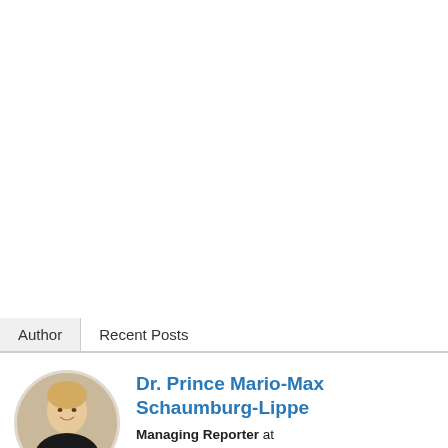Author	Recent Posts
[Figure (photo): Circular portrait photo of Dr. Prince Mario-Max Schaumburg-Lippe, a blonde man wearing a black top and necklace, smiling.]
Dr. Prince Mario-Max Schaumburg-Lippe
Managing Reporter at Newstodayworld.org on GOOGLE NEWS